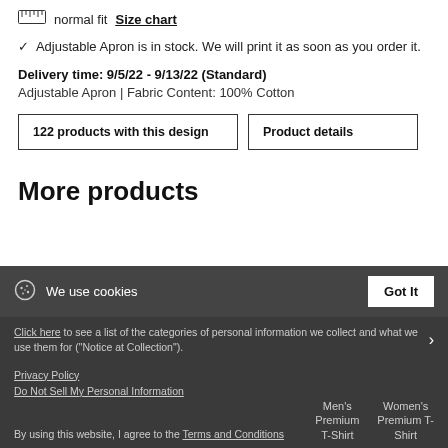normal fit  Size chart
✓ Adjustable Apron is in stock. We will print it as soon as you order it.
Delivery time: 9/5/22 - 9/13/22 (Standard)
Adjustable Apron | Fabric Content: 100% Cotton
122 products with this design
Product details
More products
We use cookies
Got It
Click here to see a list of the categories of personal information we collect and what we use them for ("Notice at Collection").
Privacy Policy
Do Not Sell My Personal Information
By using this website, I agree to the Terms and Conditions
Men's Premium T-Shirt
Women's Premium T-Shirt